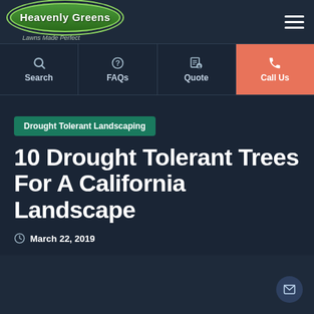[Figure (logo): Heavenly Greens logo with oval green badge and tagline 'Lawns Made Perfect']
Search | FAQs | Quote | Call Us
Drought Tolerant Landscaping
10 Drought Tolerant Trees For A California Landscape
March 22, 2019